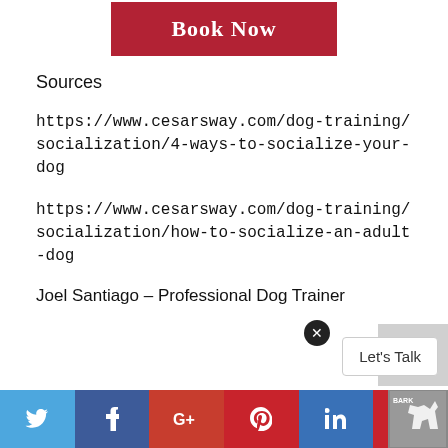[Figure (other): Red 'Book Now' button]
Sources
https://www.cesarsway.com/dog-training/socialization/4-ways-to-socialize-your-dog
https://www.cesarsway.com/dog-training/socialization/how-to-socialize-an-adult-dog
Joel Santiago – Professional Dog Trainer
[Figure (other): Social media share bar with Twitter, Facebook, Google+, Pinterest, and other icons; back to top arrow button; Let's Talk chat bubble; close button; dog trainer badge]